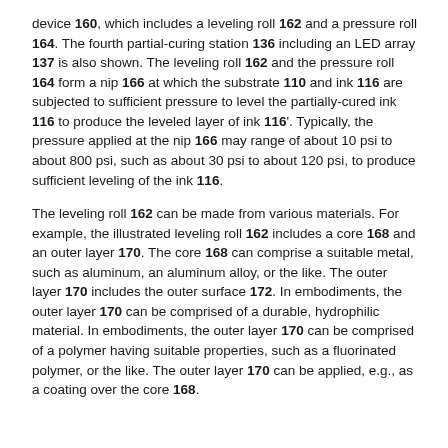device 160, which includes a leveling roll 162 and a pressure roll 164. The fourth partial-curing station 136 including an LED array 137 is also shown. The leveling roll 162 and the pressure roll 164 form a nip 166 at which the substrate 110 and ink 116 are subjected to sufficient pressure to level the partially-cured ink 116 to produce the leveled layer of ink 116'. Typically, the pressure applied at the nip 166 may range of about 10 psi to about 800 psi, such as about 30 psi to about 120 psi, to produce sufficient leveling of the ink 116.
The leveling roll 162 can be made from various materials. For example, the illustrated leveling roll 162 includes a core 168 and an outer layer 170. The core 168 can comprise a suitable metal, such as aluminum, an aluminum alloy, or the like. The outer layer 170 includes the outer surface 172. In embodiments, the outer layer 170 can be comprised of a durable, hydrophilic material. In embodiments, the outer layer 170 can be comprised of a polymer having suitable properties, such as a fluorinated polymer, or the like. The outer layer 170 can be applied, e.g., as a coating over the core 168.